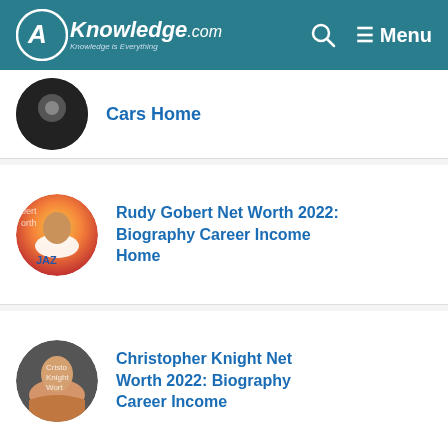AKnowledge.com — Knowledge is Everything | Menu
Cars Home
Rudy Gobert Net Worth 2022: Biography Career Income Home
Christopher Knight Net Worth 2022: Biography Career Income
Ronald Perelman Net Worth 2022: Biography Career Income Car